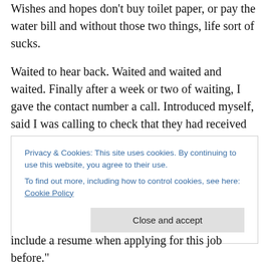Wishes and hopes don't buy toilet paper, or pay the water bill and without those two things, life sort of sucks.
Waited to hear back. Waited and waited and waited. Finally after a week or two of waiting, I gave the contact number a call. Introduced myself, said I was calling to check that they had received my application with resume attached and they said they had indeed received it. Of course at this point I was so desperate for gainful employment (let's hearken back to the toilet paper) that what little adherence to etiquette I'd had before had pretty
Privacy & Cookies: This site uses cookies. By continuing to use this website, you agree to their use.
To find out more, including how to control cookies, see here: Cookie Policy
include a resume when applying for this job before."